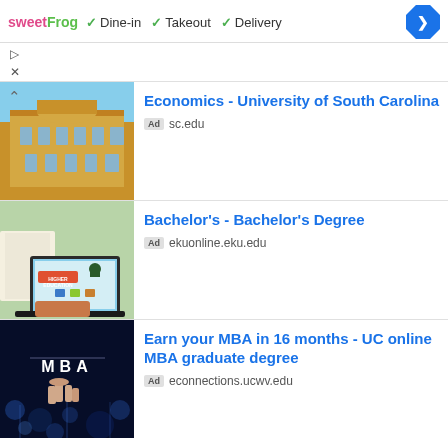[Figure (screenshot): SweetFrog logo with dine-in, takeout, delivery options and navigation arrow icon]
▷
✕
[Figure (photo): University building with classical architecture, golden stone facade]
Economics - University of South Carolina
Ad sc.edu
[Figure (photo): Person using laptop showing Higher Education infographic]
Bachelor's - Bachelor's Degree
Ad ekuonline.eku.edu
[Figure (photo): Dark blue background with MBA text and pointing finger]
Earn your MBA in 16 months - UC online MBA graduate degree
Ad econnections.ucwv.edu